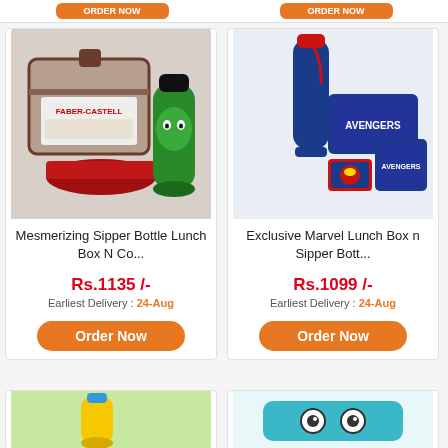[Figure (other): Orange 'Order Now' buttons strip at top]
[Figure (photo): Mesmerizing Sipper Bottle Lunch Box N Co... product image showing Faber-Castell tin box, Marvel Hulk sipper bottle, and red lunch box]
Mesmerizing Sipper Bottle Lunch Box N Co...
Rs.1135 /-
Earliest Delivery : 24-Aug
Order Now
[Figure (photo): Exclusive Marvel Lunch Box n Sipper Bott... product image showing Avengers themed blue sipper bottle and lunch boxes]
Exclusive Marvel Lunch Box n Sipper Bott...
Rs.1099 /-
Earliest Delivery : 24-Aug
Order Now
[Figure (photo): Partial bottom card showing yellow bottle on green background]
[Figure (photo): Partial bottom card showing owl-themed lunch box]